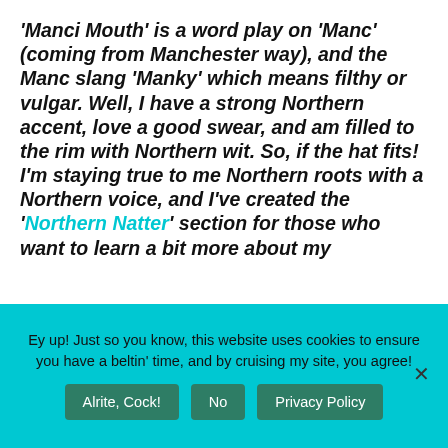'Manci Mouth' is a word play on 'Manc' (coming from Manchester way), and the Manc slang 'Manky' which means filthy or vulgar. Well, I have a strong Northern accent, love a good swear, and am filled to the rim with Northern wit. So, if the hat fits! I'm staying true to me Northern roots with a Northern voice, and I've created the 'Northern Natter' section for those who want to learn a bit more about my
Ey up! Just so you know, this website uses cookies to ensure you have a beltin' time, and by cruising my site, you agree!